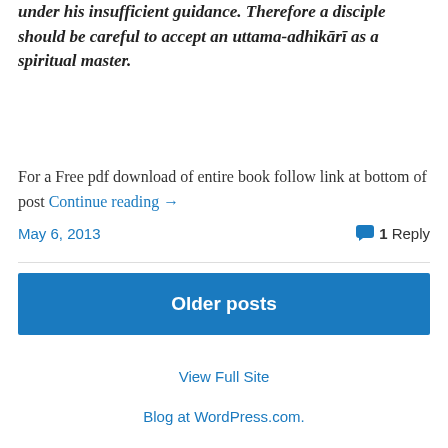under his insufficient guidance. Therefore a disciple should be careful to accept an uttama-adhikārī as a spiritual master.
For a Free pdf download of entire book follow link at bottom of post Continue reading →
May 6, 2013
1 Reply
Older posts
View Full Site
Blog at WordPress.com.